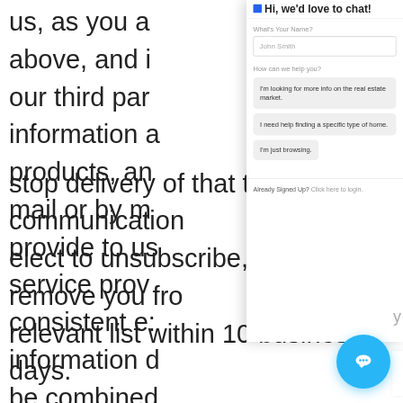us, as you a above, and i our third par information a products, an mail or by m provide to us service prov consistent e: information d be combined means. Each send include stop delivery of that type of communication elect to unsubscribe, we will remove you from relevant list within 10 business days.
[Figure (screenshot): Chat widget overlay showing: title 'Hi, we'd love to chat!', a name input field with placeholder 'John Smith', a label 'How can we help you?' with three option buttons: 'I'm looking for more info on the real estate market.', 'I need help finding a specific type of home.', 'I'm just browsing.', and a footer 'Already Signed Up? Click here to login.' with a blue circular chat bubble icon in the bottom right.]